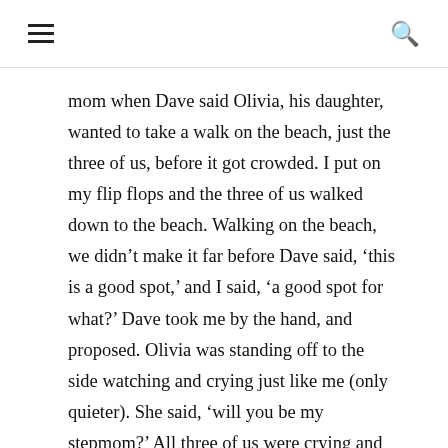[hamburger menu] [search icon]
mom when Dave said Olivia, his daughter, wanted to take a walk on the beach, just the three of us, before it got crowded. I put on my flip flops and the three of us walked down to the beach. Walking on the beach, we didn't make it far before Dave said, ‘this is a good spot,’ and I said, ‘a good spot for what?’ Dave took me by the hand, and proposed. Olivia was standing off to the side watching and crying just like me (only quieter). She said, ‘will you be my stepmom?’ All three of us were crying and hugging!”